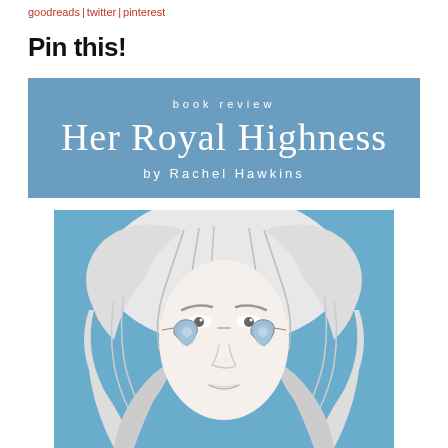goodreads | twitter | pinterest
Pin this!
[Figure (illustration): Book review banner with steel blue background, text: 'book review / Her Royal Highness / by Rachel Hawkins']
[Figure (illustration): Line art illustration of a girl with flowing wavy white/blonde hair and blue heart-shaped sunglasses reflecting a face, on a steel blue background]